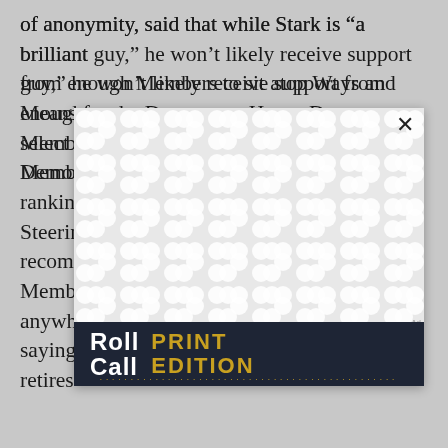of anonymity, said that while Stark is “a brilliant guy,” he won’t likely receive support from enough Members to sit atop Ways and Means for the Democrats. House Democrats select their ranking ... the Steering ... es a recom... Membe... anywh... e, saying ... he retires...
[Figure (other): Modal popup overlay with a repeating bubble/peanut pattern background, a close button (X) in the top right corner, and an advertisement banner at the bottom for Roll Call Print Edition in dark navy background with gold text.]